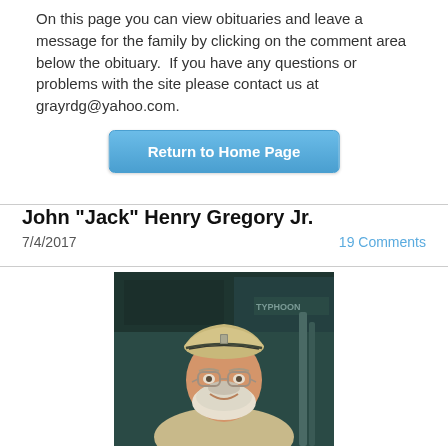On this page you can view obituaries and leave a message for the family by clicking on the comment area below the obituary.  If you have any questions or problems with the site please contact us at grayrdg@yahoo.com.
[Figure (other): Blue rounded button labeled 'Return to Home Page']
John "Jack" Henry Gregory Jr.
7/4/2017
19 Comments
[Figure (photo): Photograph of an elderly man with a white beard and glasses, wearing a beige military-style cap with a pin and a light-colored uniform shirt. He is smiling. Background shows a dark vehicle with 'TYPHOON' text visible.]